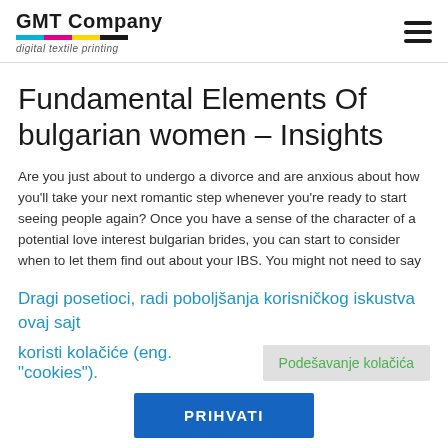[Figure (logo): GMT Company logo with colored bars and 'digital textile printing' tagline]
Fundamental Elements Of bulgarian women – Insights
Are you just about to undergo a divorce and are anxious about how you'll take your next romantic step whenever you're ready to start seeing people again? Once you have a sense of the character of a potential love interest bulgarian brides, you can start to consider when to let them find out about your IBS. You might not need to say something earlier than a primary date, but if that first date goes well, it is perhaps
Dragi posetioci, radi poboljšanja korisničkog iskustva ovaj sajt koristi kolačiće (eng. "cookies").
Podešavanje kolačića
PRIHVATI